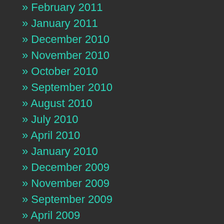» February 2011
» January 2011
» December 2010
» November 2010
» October 2010
» September 2010
» August 2010
» July 2010
» April 2010
» January 2010
» December 2009
» November 2009
» September 2009
» April 2009
» March 2009